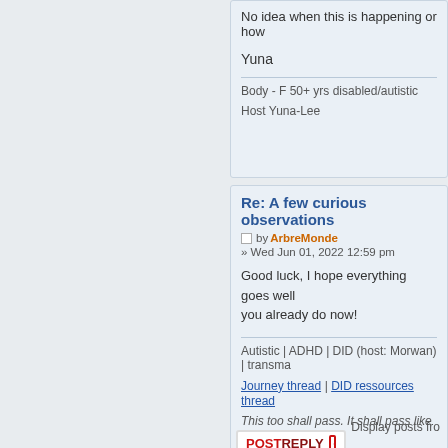No idea when this is happening or how
Yuna
Body - F 50+ yrs disabled/autistic
Host Yuna-Lee
Re: A few curious observations
by ArbreMonde » Wed Jun 01, 2022 12:59 pm
Good luck, I hope everything goes well already do now!
Autistic | ADHD | DID (host: Morwan) | transma
Journey thread | DID ressources thread
This too shall pass. It shall pass like a kidney s
What is great about broken things is: they can
Display posts fro
POSTREPLY